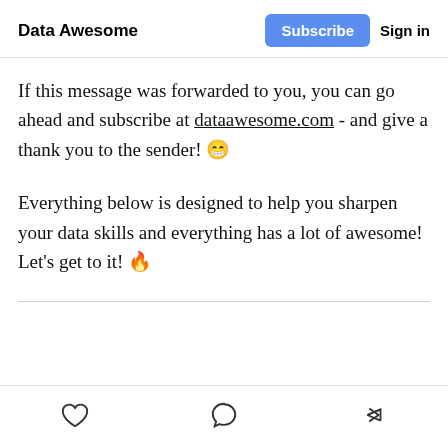Data Awesome | Subscribe | Sign in
If this message was forwarded to you, you can go ahead and subscribe at dataawesome.com - and give a thank you to the sender! 😁
Everything below is designed to help you sharpen your data skills and everything has a lot of awesome! Let's get to it! 🔥